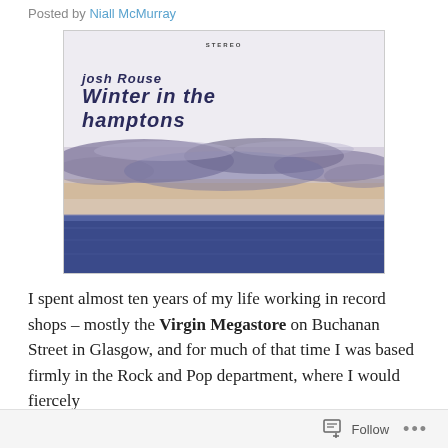Posted by Niall McMurray
[Figure (illustration): Album cover for 'Winter in the Hamptons' by Josh Rouse. White background at top with 'STEREO' text, artist name 'josh rouse' and title 'Winter in the Hamptons' in dark blue stylized font. Lower portion shows a landscape image of cloudy sky over water/sea with purplish-gray cloud formations and a blue water band at the bottom.]
I spent almost ten years of my life working in record shops – mostly the Virgin Megastore on Buchanan Street in Glasgow, and for much of that time I was based firmly in the Rock and Pop department, where I would fiercely